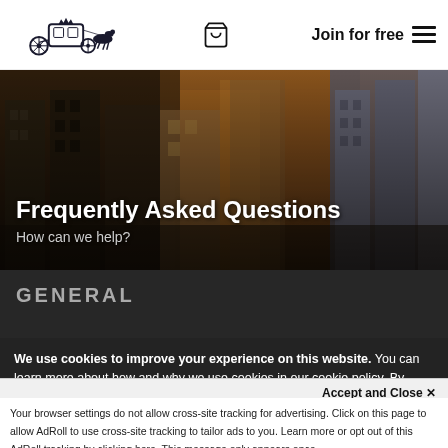Logo | Cart | Join for free | Menu
[Figure (photo): Street scene of London city with buildings, showing a busy urban street, overlaid with dark gradient]
Frequently Asked Questions
How can we help?
GENERAL
We use cookies to improve your experience on this website. You can learn more about how and why we use cookies in our cookie policy. By using this website, you agree to the use of cookies.
Accept and Close ✕
Your browser settings do not allow cross-site tracking for advertising. Click on this page to allow AdRoll to use cross-site tracking to tailor ads to you. Learn more or opt out of this AdRoll tracking by clicking here. This message only appears once.